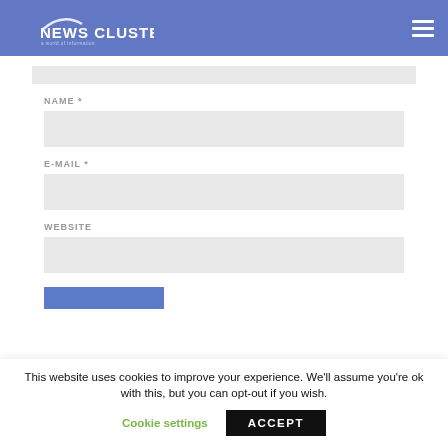NEWS CLUSTER
NAME *
E-MAIL *
WEBSITE
This website uses cookies to improve your experience. We'll assume you're ok with this, but you can opt-out if you wish.
Cookie settings
ACCEPT